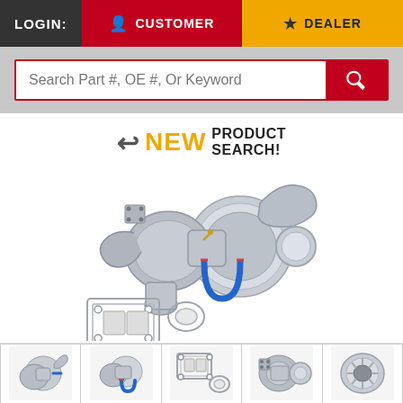LOGIN: CUSTOMER | DEALER
Search Part #, OE #, Or Keyword
NEW PRODUCT SEARCH!
[Figure (photo): Turbocharger unit shown with gaskets and a blue coolant hose, silver metallic finish, viewed from a 3/4 angle. Includes mounting gaskets displayed below the unit.]
[Figure (photo): Thumbnail strip with 5 images of the turbocharger from various angles and its gaskets.]